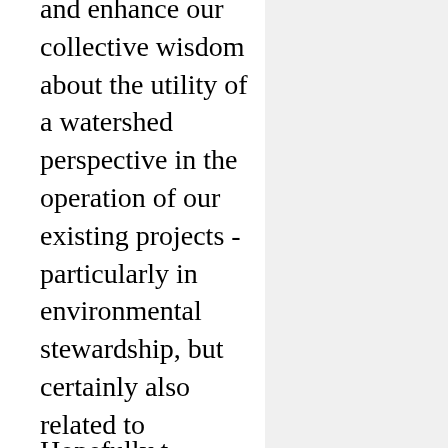and enhance our collective wisdom about the utility of a watershed perspective in the operation of our existing projects - particularly in environmental stewardship, but certainly also related to recreation, partnership, interpretive services, planning, activities and all the other aspects of the natural resources program.
Hopefully t...